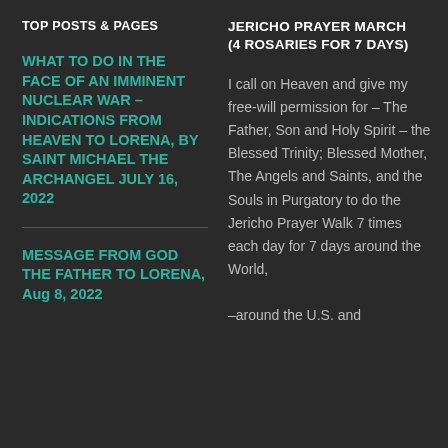TOP POSTS & PAGES
WHAT TO DO IN THE FACE OF AN IMMINENT NUCLEAR WAR – INDICATIONS FROM HEAVEN TO LORENA, BY SAINT MICHAEL THE ARCHANGEL JULY 16, 2022
MESSAGE FROM GOD THE FATHER TO LORENA, Aug 8, 2022
JERICHO PRAYER MARCH (4 ROSARIES FOR 7 DAYS)
I call on Heaven and give my free-will permission for – The Father, Son and Holy Spirit – the Blessed Trinity; Blessed Mother, The Angels and Saints, and the Souls in Purgatory to do the Jericho Prayer Walk 7 times each day for 7 days around the World, –around the U.S. and